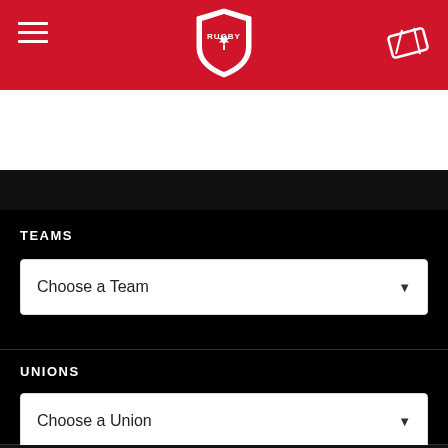Rugby Canada navigation header with hamburger menu, Rugby Canada shield logo, and ticket icon
[Figure (logo): Rugby Canada shield logo — white maple leaf with RUGBY text on a red shield, centered in red header bar]
TEAMS
Choose a Team
UNIONS
Choose a Union